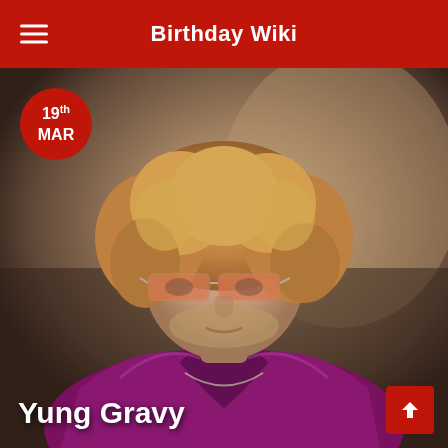Birthday Wiki
[Figure (photo): Photo of Yung Gravy, a young man with curly blonde/auburn hair, tinted orange glasses, facial stubble, wearing a shiny purple/magenta satin shirt, with a date badge showing 19th MAR in the top left corner]
Yung Gravy